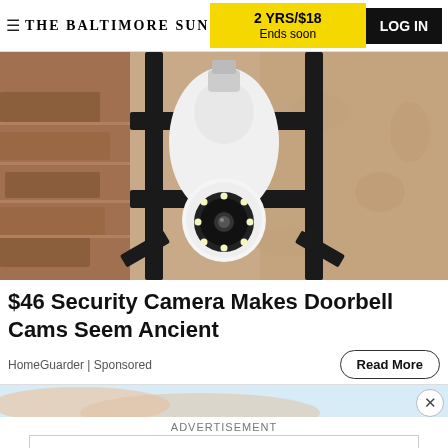THE BALTIMORE SUN | 2 YRS/$18 Ends soon | LOG IN
[Figure (photo): A white smart security camera bulb mounted in a black outdoor wall light fixture against a stone/stucco wall. The camera has a ring of LED lights around the lens.]
$46 Security Camera Makes Doorbell Cams Seem Ancient
HomeGuarder | Sponsored
Read More
[Figure (photo): Partial view of a hand or skin-tone content, cropped at bottom of page]
ADVERTISEMENT
[Figure (logo): Tribune Publishing logo in blue outline box]
Advertise